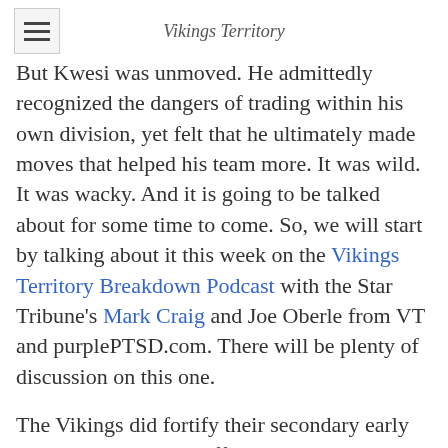Vikings Territory
But Kwesi was unmoved. He admittedly recognized the dangers of trading within his own division, yet felt that he ultimately made moves that helped his team more. It was wild. It was wacky. And it is going to be talked about for some time to come. So, we will start by talking about it this week on the Vikings Territory Breakdown Podcast with the Star Tribune's Mark Craig and Joe Oberle from VT and purplePTSD.com. There will be plenty of discussion on this one.
The Vikings did fortify their secondary early and then make some offensive selections late. They did get some decent players despite arguably trading away from better